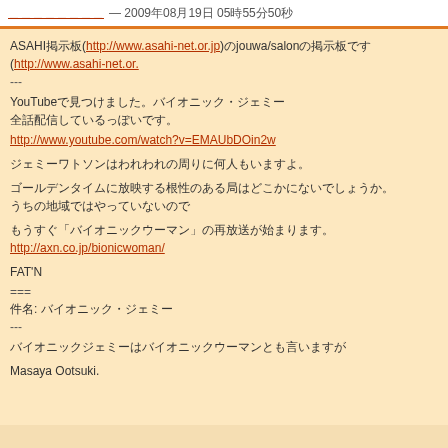＿＿＿＿＿＿＿＿ — 2009年08月19日 05時55分50秒
ASAHI掲示板(http://www.asahi-net.or.jp)のjouwa/salonの掲示板です(http://www.asahi-net.or.jp/~kc2h-msm/jouwa/salon/)
---
YouTubeで見つけました。バイオニック・ジェミー
全話配信しているっぽいです。
http://www.youtube.com/watch?v=EMAUbDOin2w
ジェミーワトソンはわれわれの周りに何人もいますよ。
ゴールデンタイムに放映する根性のある局はどこかにないでしょうか。
うちの地域ではやっていないので
もうすぐ「バイオニックウーマン」の再放送が始まります。
http://axn.co.jp/bionicwoman/
FAT'N
===
件名: バイオニック・ジェミー
---
バイオニックジェミーはバイオニックウーマンとも言いますが
Masaya Ootsuki.